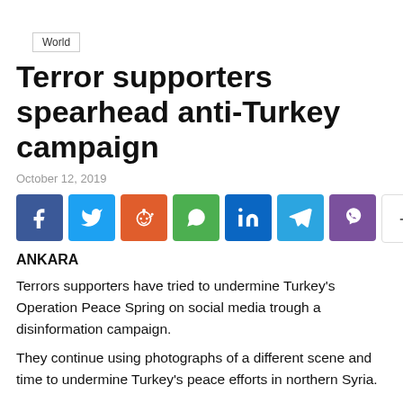World
Terror supporters spearhead anti-Turkey campaign
October 12, 2019
[Figure (infographic): Social media share buttons: Facebook, Twitter, Reddit, WhatsApp, LinkedIn, Telegram, Viber, and a plus/more button]
ANKARA
Terrors supporters have tried to undermine Turkey's Operation Peace Spring on social media trough a disinformation campaign.
They continue using photographs of a different scene and time to undermine Turkey's peace efforts in northern Syria.